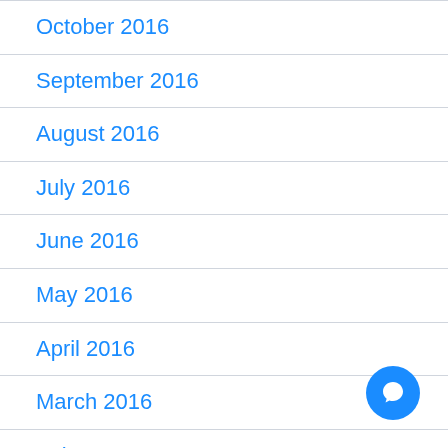October 2016
September 2016
August 2016
July 2016
June 2016
May 2016
April 2016
March 2016
February 2016